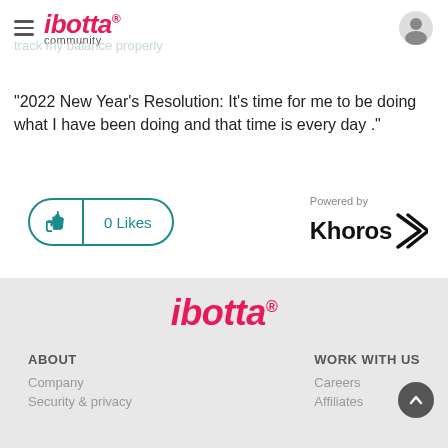ibotta community
2022 New Year's Resolution: It's time for me to be doing what I have been doing and that time is every day ."
0 Likes
[Figure (logo): Powered by Khoros logo with stylized arrow/chevron icon]
[Figure (logo): ibotta logo in pink/magenta italic font]
ABOUT
Company
Security & privacy
WORK WITH US
Careers
Affiliates